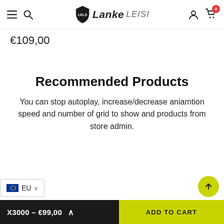LankeLeisi navigation header with logo, hamburger menu, search, account and cart (0 items)
€109,00
Recommended Products
You can stop autoplay, increase/decrease aniamtion speed and number of grid to show and products from store admin.
X3000 - €99,00  ADD TO CART